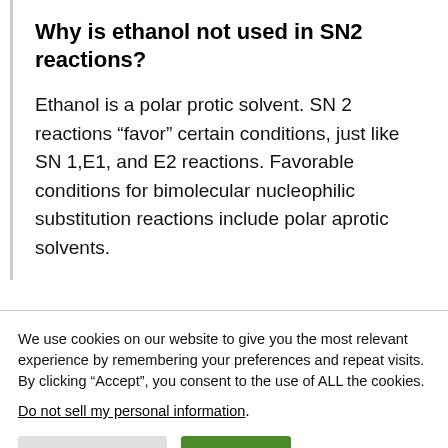Why is ethanol not used in SN2 reactions?
Ethanol is a polar protic solvent. SN 2 reactions “favor” certain conditions, just like SN 1,E1, and E2 reactions. Favorable conditions for bimolecular nucleophilic substitution reactions include polar aprotic solvents.
We use cookies on our website to give you the most relevant experience by remembering your preferences and repeat visits. By clicking “Accept”, you consent to the use of ALL the cookies.
Do not sell my personal information.